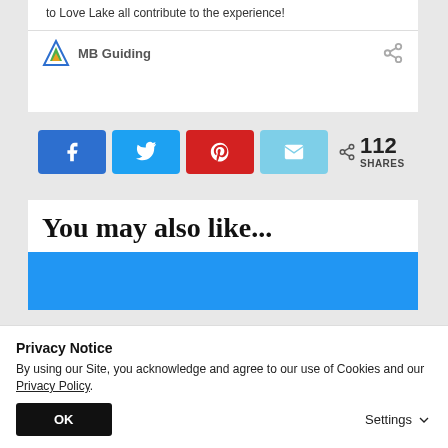to Love Lake all contribute to the experience!
MB Guiding
[Figure (infographic): Social share buttons: Facebook (blue), Twitter (light blue), Pinterest (red), Email (cyan), with share count 112 SHARES]
You may also like...
[Figure (photo): Blue image banner below 'You may also like...' heading]
Privacy Notice
By using our Site, you acknowledge and agree to our use of Cookies and our Privacy Policy.
OK
Settings